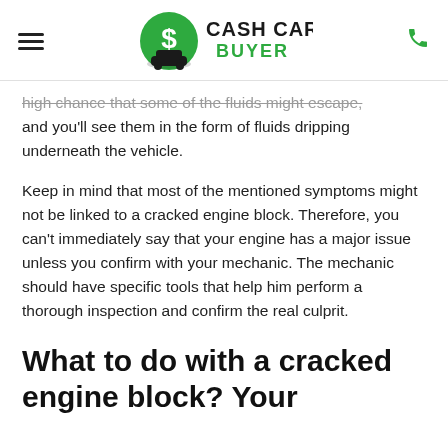Cash Cars Buyer
high chance that some of the fluids might escape, and you'll see them in the form of fluids dripping underneath the vehicle.
Keep in mind that most of the mentioned symptoms might not be linked to a cracked engine block. Therefore, you can't immediately say that your engine has a major issue unless you confirm with your mechanic. The mechanic should have specific tools that help him perform a thorough inspection and confirm the real culprit.
What to do with a cracked engine block? Your